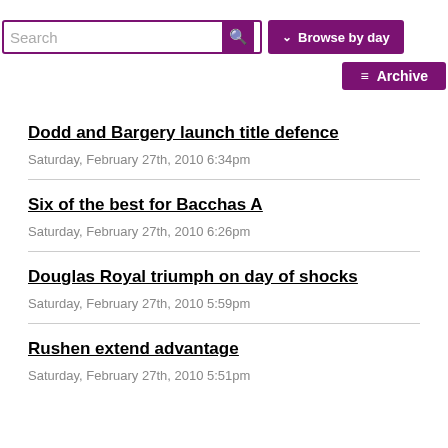Search | Browse by day | Archive
Dodd and Bargery launch title defence – Saturday, February 27th, 2010 6:34pm
Six of the best for Bacchas A – Saturday, February 27th, 2010 6:26pm
Douglas Royal triumph on day of shocks – Saturday, February 27th, 2010 5:59pm
Rushen extend advantage – Saturday, February 27th, 2010 5:51pm